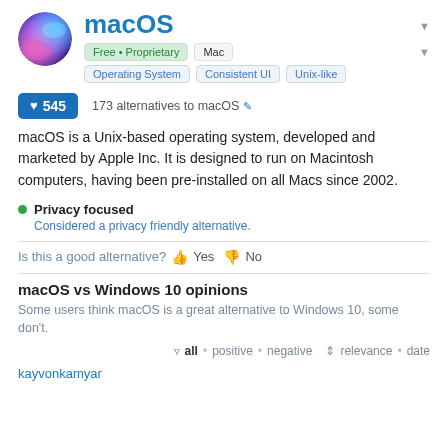macOS
Free • Proprietary  Mac  Operating System  Consistent UI  Unix-like
♥ 545  173 alternatives to macOS
macOS is a Unix-based operating system, developed and marketed by Apple Inc. It is designed to run on Macintosh computers, having been pre-installed on all Macs since 2002.
Privacy focused
Considered a privacy friendly alternative.
Is this a good alternative? 👍 Yes 👎 No
macOS vs Windows 10 opinions
Some users think macOS is a great alternative to Windows 10, some don't.
all • positive • negative  relevance • date
kayvonkamyar